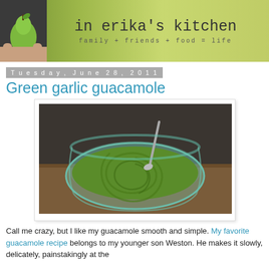in erika's kitchen — family + friends + food = life
Tuesday, June 28, 2011
Green garlic guacamole
[Figure (photo): A glass bowl filled with smooth green guacamole, swirled with a spoon, photographed from above on a wooden surface]
Call me crazy, but I like my guacamole smooth and simple. My favorite guacamole recipe belongs to my younger son Weston. He makes it slowly, delicately, painstakingly at the